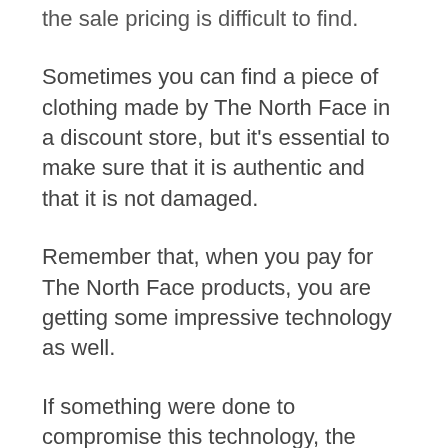the sale pricing is difficult to find.
Sometimes you can find a piece of clothing made by The North Face in a discount store, but it’s essential to make sure that it is authentic and that it is not damaged.
Remember that, when you pay for The North Face products, you are getting some impressive technology as well.
If something were done to compromise this technology, the piece is very likely worth quite a bit less.